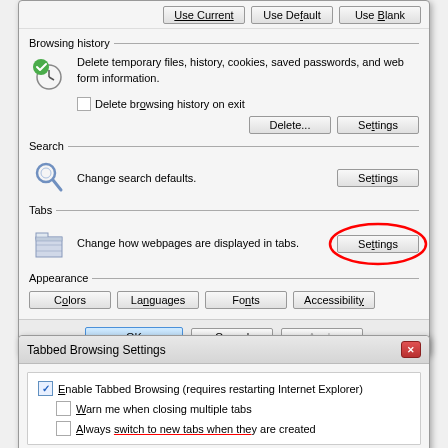[Figure (screenshot): Internet Explorer Internet Options dialog showing Browsing history, Search, Tabs, and Appearance sections. The Tabs section Settings button is circled in red.]
[Figure (screenshot): Tabbed Browsing Settings dialog with Enable Tabbed Browsing checkbox checked, Warn me when closing multiple tabs unchecked, and Always switch to new tabs when they are created partially visible.]